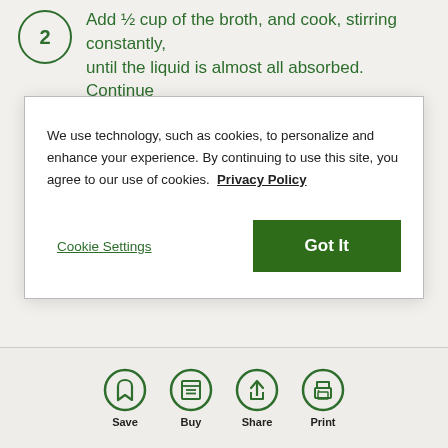2 Add ½ cup of the broth, and cook, stirring constantly, until the liquid is almost all absorbed. Continue adding ½ cup broth at a time using this same
We use technology, such as cookies, to personalize and enhance your experience. By continuing to use this site, you agree to our use of cookies. Privacy Policy
Cookie Settings
Got It
dressing, using more or less depending on how loose you want the risotto.
4 Season to taste with salt and pepper, and serve hot.
Save  Buy  Share  Print